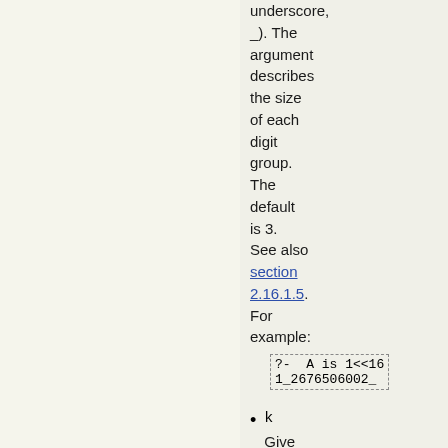underscore, _). The argument describes the size of each digit group. The default is 3. See also section 2.16.1.5. For example:
?- A is 1<<16
1_2676506002_
k
Give the next argument to